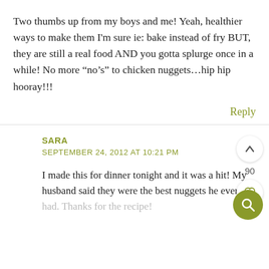Two thumbs up from my boys and me! Yeah, healthier ways to make them I'm sure ie: bake instead of fry BUT, they are still a real food AND you gotta splurge once in a while! No more “no’s” to chicken nuggets…hip hip hooray!!!
Reply
SARA
SEPTEMBER 24, 2012 AT 10:21 PM
90
I made this for dinner tonight and it was a hit! My husband said they were the best nuggets he ever had. Thanks for the recipe!